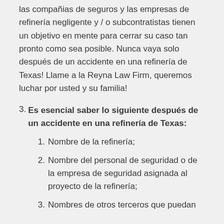las compañias de seguros y las empresas de refinería negligente y / o subcontratistas tienen un objetivo en mente para cerrar su caso tan pronto como sea posible. Nunca vaya solo después de un accidente en una refinería de Texas! Llame a la Reyna Law Firm, queremos luchar por usted y su familia!
3. Es esencial saber lo siguiente después de un accidente en una refinería de Texas:
1. Nombre de la refinería;
2. Nombre del personal de seguridad o de la empresa de seguridad asignada al proyecto de la refinería;
3. Nombres de otros terceros que puedan